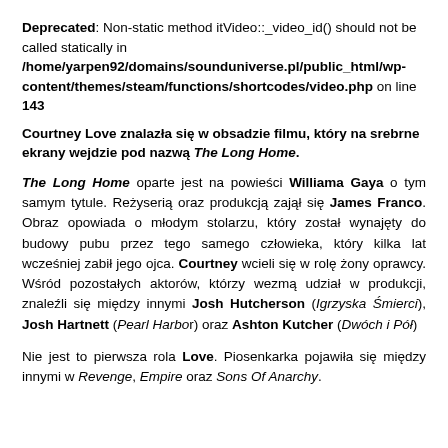Deprecated: Non-static method itVideo::_video_id() should not be called statically in /home/yarpen92/domains/sounduniverse.pl/public_html/wp-content/themes/steam/functions/shortcodes/video.php on line 143
Courtney Love znalazła się w obsadzie filmu, który na srebrne ekrany wejdzie pod nazwą The Long Home.
The Long Home oparte jest na powieści Williama Gaya o tym samym tytule. Reżyserią oraz produkcją zajął się James Franco. Obraz opowiada o młodym stolarzu, który został wynajęty do budowy pubu przez tego samego człowieka, który kilka lat wcześniej zabił jego ojca. Courtney wcieli się w rolę żony oprawcy. Wśród pozostałych aktorów, którzy wezmą udział w produkcji, znaleźli się między innymi Josh Hutcherson (Igrzyska Śmierci), Josh Hartnett (Pearl Harbor) oraz Ashton Kutcher (Dwóch i Pół)
Nie jest to pierwsza rola Love. Piosenkarka pojawiła się między innymi w Revenge, Empire oraz Sons Of Anarchy.